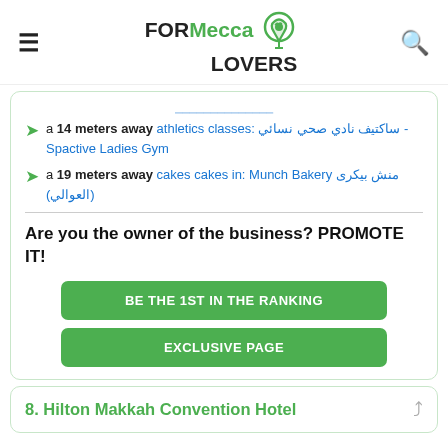FORMecca LOVERS
a 14 meters away athletics classes: ساكتيف نادي صحي نسائي - Spactive Ladies Gym
a 19 meters away cakes cakes in: Munch Bakery منش بيكرى (العوالي)
Are you the owner of the business? PROMOTE IT!
BE THE 1ST IN THE RANKING
EXCLUSIVE PAGE
8. Hilton Makkah Convention Hotel